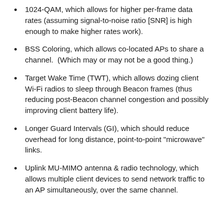1024-QAM, which allows for higher per-frame data rates (assuming signal-to-noise ratio [SNR] is high enough to make higher rates work).
BSS Coloring, which allows co-located APs to share a channel.  (Which may or may not be a good thing.)
Target Wake Time (TWT), which allows dozing client Wi-Fi radios to sleep through Beacon frames (thus reducing post-Beacon channel congestion and possibly improving client battery life).
Longer Guard Intervals (GI), which should reduce overhead for long distance, point-to-point "microwave" links.
Uplink MU-MIMO antenna & radio technology, which allows multiple client devices to send network traffic to an AP simultaneously, over the same channel.